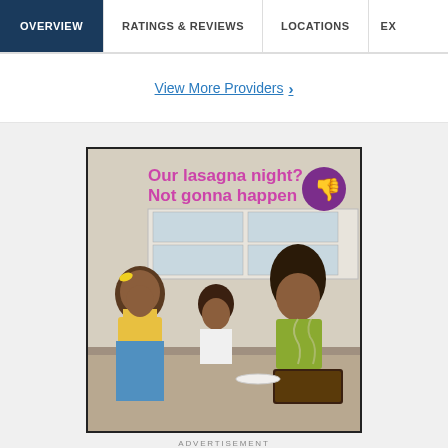OVERVIEW | RATINGS & REVIEWS | LOCATIONS | EX…
View More Providers >
[Figure (photo): Advertisement image showing a mother and two daughters in a kitchen, with burned lasagna. Text reads: 'Our lasagna night? Not gonna happen' with a purple thumbs-down icon.]
ADVERTISEMENT